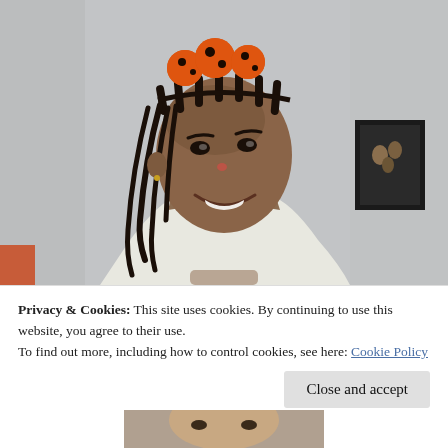[Figure (photo): A woman with braided hair decorated with orange and black Halloween-style pom-poms, wearing a red clown nose, smiling sideways at the camera. She is wearing a white tank top. There is a framed picture on the wall behind her to the right.]
Privacy & Cookies: This site uses cookies. By continuing to use this website, you agree to their use.
To find out more, including how to control cookies, see here: Cookie Policy
[Figure (photo): Partial view of another person's face at the very bottom of the page.]